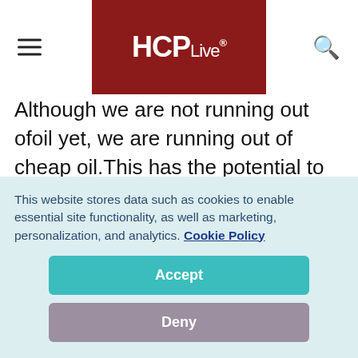HCPLive®
Although we are not running out ofoil yet, we are running out of cheap oil.This has the potential to cause a financialstorm unseen in this country sincethe Great Depression. The problem isthat as oil fields age, their pressure decreasesand it gets more expensive toextract the oil. The world has relied onlarge fields in
This website stores data such as cookies to enable essential site functionality, as well as marketing, personalization, and analytics. Cookie Policy
Accept
Deny